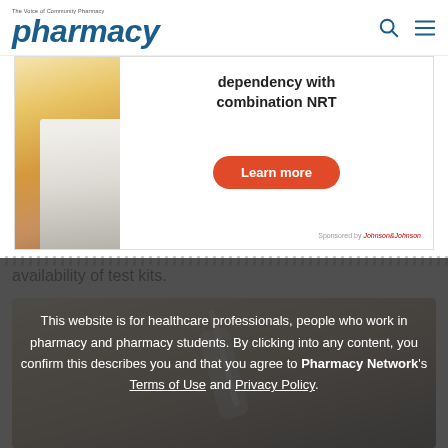pharmacy - The Voice of Community Pharmacy
[Figure (photo): Advertisement banner showing person in yellow jacket holding phone beside healthcare professional, with text about combination NRT and Learn more button, sponsored by Johnson & Johnson]
availability of test kits.
[Figure (photo): Close-up photo of a hand holding a COVID-19 rapid antigen test kit swab]
This website is for healthcare professionals, people who work in pharmacy and pharmacy students. By clicking into any content, you confirm this describes you and that you agree to Pharmacy Network's Terms of Use and Privacy Policy.